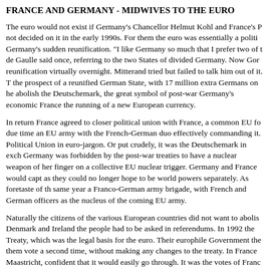FRANCE AND GERMANY - MIDWIVES TO THE EURO
The euro would not exist if Germany's Chancellor Helmut Kohl and France's P not decided on it in the early 1990s. For them the euro was essentially a politi Germany's sudden reunification. "I like Germany so much that I prefer two of t de Gaulle said once, referring to the two States of divided Germany. Now Gor reunification virtually overnight. Mitterand tried but failed to talk him out of it. T the prospect of a reunified German State, with 17 million extra Germans on he abolish the Deutschemark, the great symbol of post-war Germany's economic France the running of a new European currency.
In return France agreed to closer political union with France, a common EU fo due time an EU army with the French-German duo effectively commanding it. Political Union in euro-jargon. Or put crudely, it was the Deutschemark in exch Germany was forbidden by the post-war treaties to have a nuclear weapon of her finger on a collective EU nuclear trigger. Germany and France would capt as they could no longer hope to be world powers separately. As foretaste of th same year a Franco-German army brigade, with French and German officers as the nucleus of the coming EU army.
Naturally the citizens of the various European countries did not want to abolis Denmark and Ireland the people had to be asked in referendums. In 1992 the Treaty, which was the legal basis for the euro. Their europhile Government the them vote a second time, without making any changes to the treaty. In France Maastricht, confident that it would easily go through. It was the votes of Franc him a narrow 51% majority and thereby helped to abolish the franc. The Germ abolishing the D-mark. Indeed recent opinion polls show that they would very Unfortunately their constitution does not permit referendums, so their eurofan regardless. British public opinion forced John Major's Conservative Governm